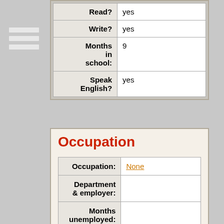| Field | Value |
| --- | --- |
| Read? | yes |
| Write? | yes |
| Months in school: | 9 |
| Speak English? | yes |
Occupation
| Field | Value |
| --- | --- |
| Occupation: | None |
| Department & employer: |  |
| Months unemployed: |  |